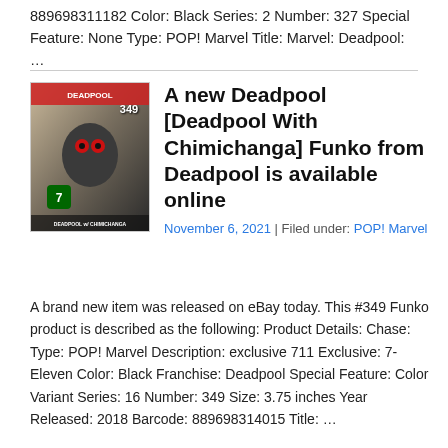889698311182 Color: Black Series: 2 Number: 327 Special Feature: None Type: POP! Marvel Title: Marvel: Deadpool: …
A new Deadpool [Deadpool With Chimichanga] Funko from Deadpool is available online
[Figure (photo): Photo of Funko POP! Deadpool With Chimichanga #349 figure, a 7-Eleven exclusive, in its box packaging]
November 6, 2021 | Filed under: POP! Marvel
A brand new item was released on eBay today. This #349 Funko product is described as the following: Product Details: Chase: Type: POP! Marvel Description: exclusive 711 Exclusive: 7-Eleven Color: Black Franchise: Deadpool Special Feature: Color Variant Series: 16 Number: 349 Size: 3.75 inches Year Released: 2018 Barcode: 889698314015 Title: …